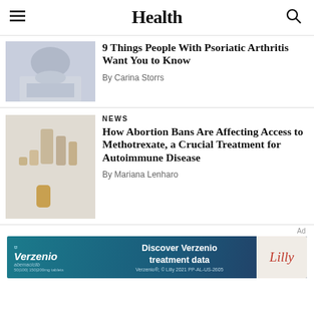Health
9 Things People With Psoriatic Arthritis Want You to Know
By Carina Storrs
NEWS
How Abortion Bans Are Affecting Access to Methotrexate, a Crucial Treatment for Autoimmune Disease
By Mariana Lenharo
[Figure (infographic): Advertisement banner for Verzenio (abemaciclib) by Lilly. Text: Discover Verzenio treatment data. Verzenio®; © Lilly 2021 PP-AL-US-2605]